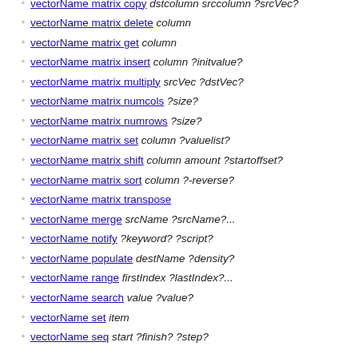vectorName matrix copy dstcolumn srccolumn ?srcVec?
vectorName matrix delete column
vectorName matrix get column
vectorName matrix insert column ?initvalue?
vectorName matrix multiply srcVec ?dstVec?
vectorName matrix numcols ?size?
vectorName matrix numrows ?size?
vectorName matrix set column ?valuelist?
vectorName matrix shift column amount ?startoffset?
vectorName matrix sort column ?-reverse?
vectorName matrix transpose
vectorName merge srcName ?srcName?...
vectorName notify ?keyword? ?script?
vectorName populate destName ?density?
vectorName range firstIndex ?lastIndex?...
vectorName search value ?value?
vectorName set item
vectorName seq start ?finish? ?step?